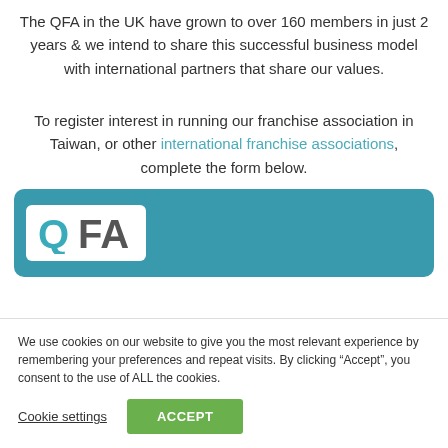The QFA in the UK have grown to over 160 members in just 2 years & we intend to share this successful business model with international partners that share our values.
To register interest in running our franchise association in Taiwan, or other international franchise associations, complete the form below.
[Figure (logo): QFA logo on teal/blue banner background]
We use cookies on our website to give you the most relevant experience by remembering your preferences and repeat visits. By clicking “Accept”, you consent to the use of ALL the cookies.
Cookie settings | ACCEPT